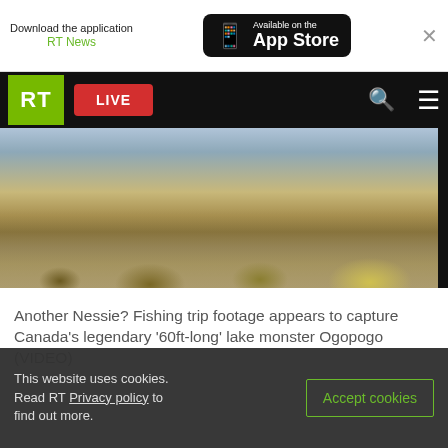[Figure (screenshot): App Store download banner for RT News with phone icon and Available on the App Store button, with close X]
[Figure (screenshot): RT news website navigation bar with green RT logo, red LIVE button, search and menu icons on black background]
[Figure (photo): Lakeside landscape with dry golden shrubs and brush in foreground, grey-blue water and overcast sky in background]
Another Nessie? Fishing trip footage appears to capture Canada's legendary '60ft-long' lake monster Ogopogo (VIDEO)
This website uses cookies. Read RT Privacy policy to find out more.